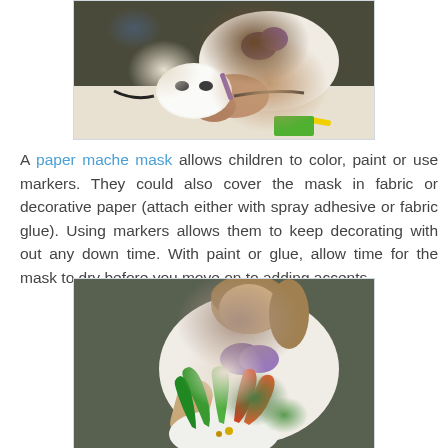[Figure (photo): Child sitting at a table coloring or drawing on a white paper mache mask using a marker, with colored items visible on the table.]
A paper mache mask allows children to color, paint or use markers. They could also cover the mask in fabric or decorative paper (attach either with spray adhesive or fabric glue). Using markers allows them to keep decorating with out any down time. With paint or glue, allow time for the mask to dry before you move on to adding accents.
[Figure (photo): Young girl with butterfly shirt leaning over and decorating a paper mache mask with colorful feathers and other embellishments.]